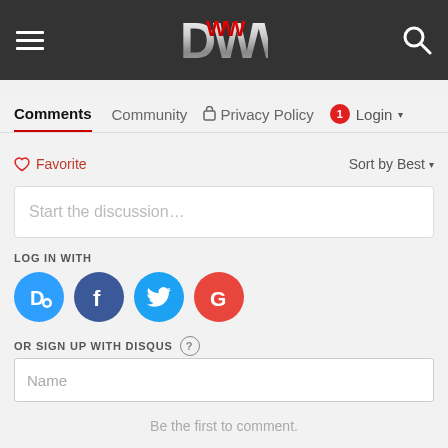OWW site header with hamburger menu, logo, and search icon
Comments | Community | Privacy Policy | 1 Login
♡ Favorite    Sort by Best
Start the discussion…
LOG IN WITH
[Figure (infographic): Social login icons: Disqus (D), Facebook (f), Twitter bird, Google (G)]
OR SIGN UP WITH DISQUS ?
Name
Be the first to comment.